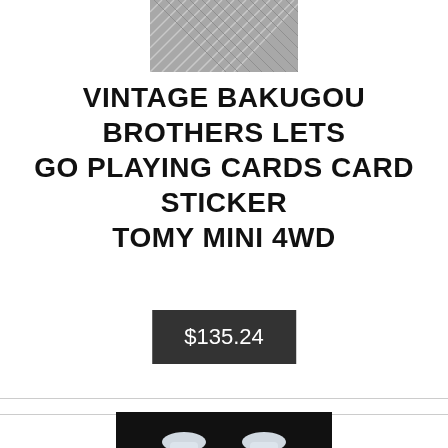[Figure (photo): Close-up photo of a textured grey surface with a woven/diamond pattern, appears to be a metal or plastic tread plate surface.]
VINTAGE BAKUGOU BROTHERS LETS GO PLAYING CARDS CARD STICKER TOMY MINI 4WD
$135.24
[Figure (photo): Photo of two antique Chinese blue and white porcelain vases with dragon decoration on a black background.]